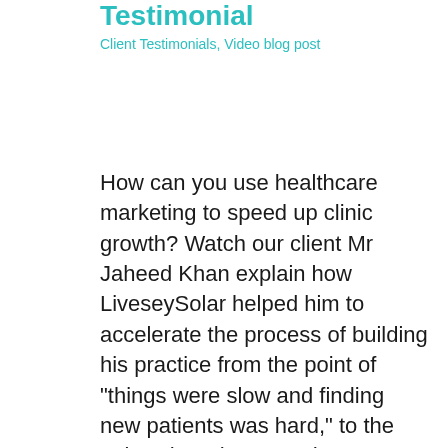Testimonial
Client Testimonials, Video blog post
How can you use healthcare marketing to speed up clinic growth? Watch our client Mr Jaheed Khan explain how LiveseySolar helped him to accelerate the process of building his practice from the point of "things were slow and finding new patients was hard," to the point where he started to see growth and believe in a process of iterative month on month growth...